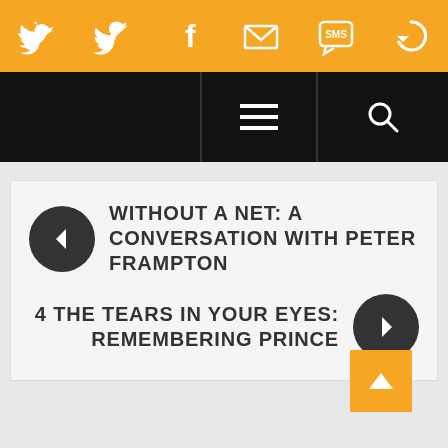[Figure (infographic): Orange top navigation bar with social media icons: Twitter, Facebook, Email/envelope, SMS, and a circular arrow/refresh icon]
[Figure (infographic): Black navigation bar with hamburger menu icon in center and search magnifying glass icon on right]
WITHOUT A NET: A CONVERSATION WITH PETER FRAMPTON
4 THE TEARS IN YOUR EYES: REMEMBERING PRINCE
[Figure (infographic): Orange back-to-top button with upward arrow chevron in bottom right corner]